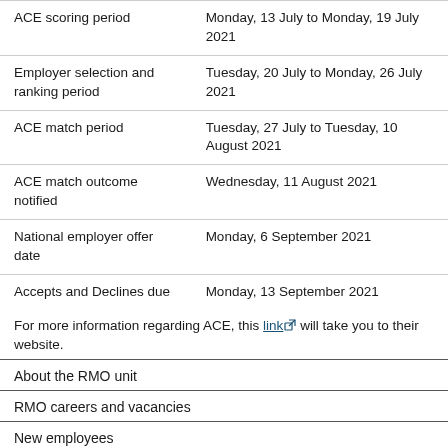| Event | Date |
| --- | --- |
| ACE scoring period | Monday, 13 July to Monday, 19 July 2021 |
| Employer selection and ranking period | Tuesday, 20 July to Monday, 26 July 2021 |
| ACE match period | Tuesday, 27 July to Tuesday, 10 August 2021 |
| ACE match outcome notified | Wednesday, 11 August 2021 |
| National employer offer date | Monday, 6 September 2021 |
| Accepts and Declines due | Monday, 13 September 2021 |
For more information regarding ACE, this link will take you to their website.
About the RMO unit
RMO careers and vacancies
New employees